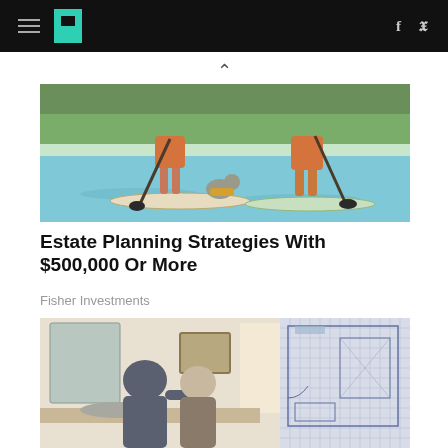HuffPost — social icons: f, twitter
[Figure (illustration): Two people paddleboarding on a lake with a dog on one of the boards, illustrated style]
Estate Planning Strategies With $500,000 Or More
Fisher Investments
[Figure (photo): Couple viewed from behind looking at a bathroom renovation plan, split between photo and blueprint]